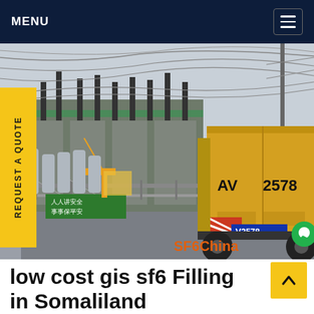MENU
[Figure (photo): Electrical substation with power lines and overhead cables, a yellow delivery truck with license plate markings 'AV 2578' and 'V2578' in the foreground, safety signage in Chinese characters, and cranes visible in the background. Watermark reads 'SF6China'.]
low cost gis sf6 Filling in Somaliland